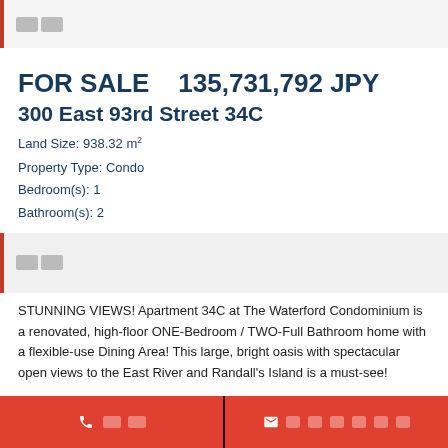□□
FOR SALE   135,731,792 JPY
300 East 93rd Street 34C
Land Size: 938.32 m²
Property Type: Condo
Bedroom(s): 1
Bathroom(s): 2
[Figure (photo): Property image placeholder]
STUNNING VIEWS! Apartment 34C at The Waterford Condominium is a renovated, high-floor ONE-Bedroom / TWO-Full Bathroom home with a flexible-use Dining Area! This large, bright oasis with spectacular open views to the East River and Randall's Island is a must-see!
The functional and modern kitchen features stainless steel appliances,
□□   □□□□□□□